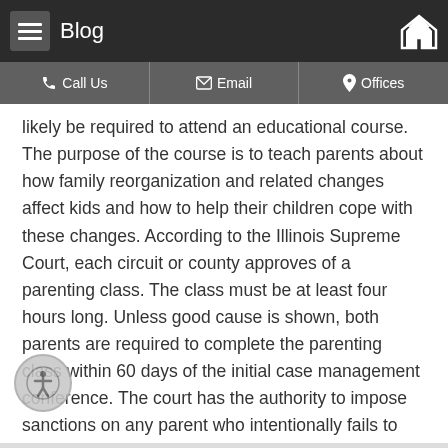Blog
Call Us | Email | Offices
likely be required to attend an educational course. The purpose of the course is to teach parents about how family reorganization and related changes affect kids and how to help their children cope with these changes. According to the Illinois Supreme Court, each circuit or county approves of a parenting class. The class must be at least four hours long. Unless good cause is shown, both parents are required to complete the parenting class within 60 days of the initial case management conference. The court has the authority to impose sanctions on any parent who intentionally fails to complete the parenting class. Even if your divorce is uncontested, meaning you and your spouse agree on the terms of the divorce, you will still be expected to complete the course.
...
Continue reading